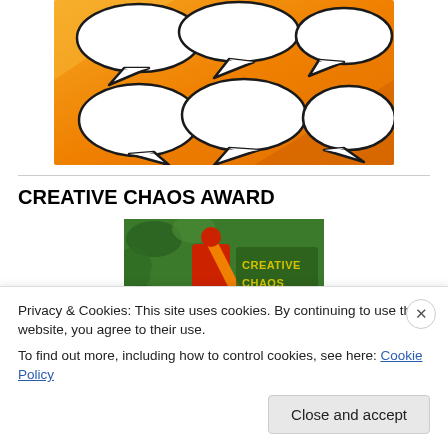[Figure (illustration): Orange background with multiple white speech bubbles arranged across it, comic-book style illustration]
CREATIVE CHAOS AWARD
[Figure (photo): Photo of a person in a red outfit with an orange sash and text reading CREATIVE CHAOS on the right side, set against a green leafy background]
Privacy & Cookies: This site uses cookies. By continuing to use this website, you agree to their use.
To find out more, including how to control cookies, see here: Cookie Policy
Close and accept